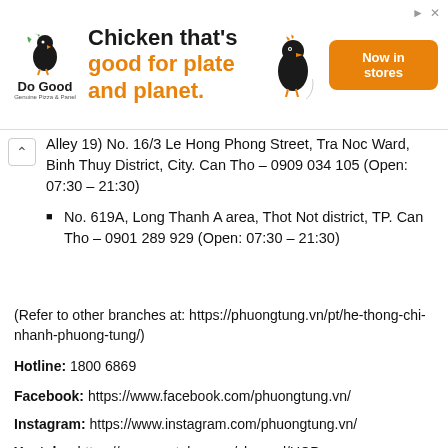[Figure (illustration): Do Good chicken brand advertisement banner with logo, headline 'Chicken that's good for plate and planet.' and 'Now in stores' button]
Alley 19, No. 16/3 Le Hong Phong Street, Tra Noc Ward, Binh Thuy District, City. Can Tho – 0909 034 105 (Open: 07:30 – 21:30)
No. 619A, Long Thanh A area, Thot Not district, TP. Can Tho – 0901 289 929 (Open: 07:30 – 21:30)
(Refer to other branches at: https://phuongtung.vn/pt/he-thong-chi-nhanh-phuong-tung/)
Hotline: 1800 6869
Facebook: https://www.facebook.com/phuongtung.vn/
Instagram: https://www.instagram.com/phuongtung.vn/
Youtube: https://www.youtube.com/channel/UCP-